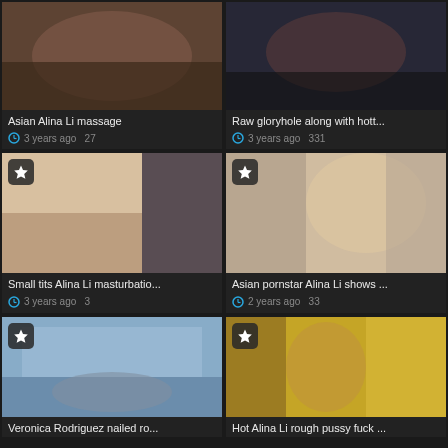[Figure (screenshot): Video thumbnail grid showing adult video content listings with titles and metadata]
Asian Alina Li massage
3 years ago   27
Raw gloryhole along with hott...
3 years ago   331
Small tits Alina Li masturbatio...
3 years ago   3
Asian pornstar Alina Li shows ...
2 years ago   33
Veronica Rodriguez nailed ro...
Hot Alina Li rough pussy fuck ...